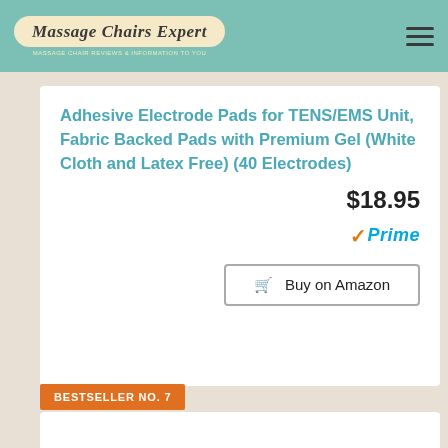Massage Chairs Expert
Adhesive Electrode Pads for TENS/EMS Unit, Fabric Backed Pads with Premium Gel (White Cloth and Latex Free) (40 Electrodes)
$18.95
Prime
Buy on Amazon
BESTSELLER NO. 7